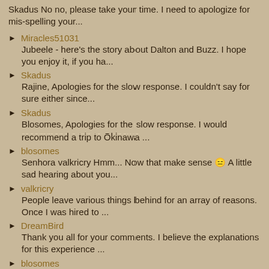Skadus No no, please take your time. I need to apologize for mis-spelling your...
Miracles51031
Jubeele - here's the story about Dalton and Buzz. I hope you enjoy it, if you ha...
Skadus
Rajine, Apologies for the slow response. I couldn't say for sure either since...
Skadus
Blosomes, Apologies for the slow response. I would recommend a trip to Okinawa ...
blosomes
Senhora valkricry Hmm... Now that make sense 😕 A little sad hearing about you...
valkricry
People leave various things behind for an array of reasons. Once I was hired to ...
DreamBird
Thank you all for your comments. I believe the explanations for this experience ...
blosomes